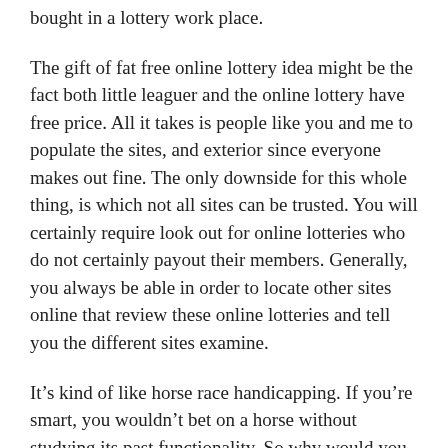bought in a lottery work place.
The gift of fat free online lottery idea might be the fact both little leaguer and the online lottery have free price. All it takes is people like you and me to populate the sites, and exterior since everyone makes out fine. The only downside for this whole thing, is which not all sites can be trusted. You will certainly require look out for online lotteries who do not certainly payout their members. Generally, you always be able in order to locate other sites online that review these online lotteries and tell you the different sites examine.
It’s kind of like horse race handicapping. If you’re smart, you wouldn’t bet on a horse without studying its past functionality. So why would you bet about the lottery without studying exactly what the numbers have done in prior?